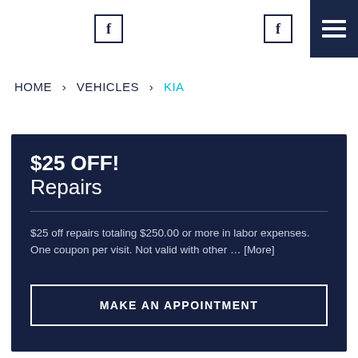Facebook icon | Facebook icon | Hamburger menu
HOME > VEHICLES > KIA
$25 OFF! Repairs
$25 off repairs totaling $250.00 or more in labor expenses. One coupon per visit. Not valid with other ... [More]
MAKE AN APPOINTMENT